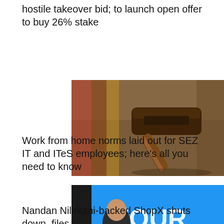hostile takeover bid; to launch open offer to buy 26% stake
[Figure (photo): A wooden judge's gavel resting on a wooden surface with law books in the background]
Work from home norms laid out for SEZ IT and ITeS employees; here’s all you need to know
[Figure (photo): A man in a dark suit speaking at an event with a blue and yellow background showing the letters 'YOUR']
Nandan Nilekani-backed ShopX shuts down, files